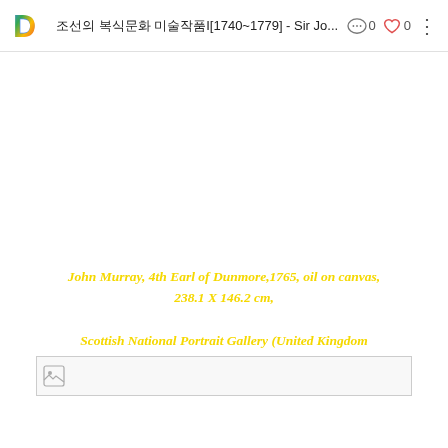조선의 복식문화 미술작품I[1740~1779] - Sir Jo... 0 0
John Murray, 4th Earl of Dunmore,1765, oil on canvas, 238.1 X 146.2 cm, Scottish National Portrait Gallery (United Kingdom
[Figure (photo): Image placeholder at bottom of page]